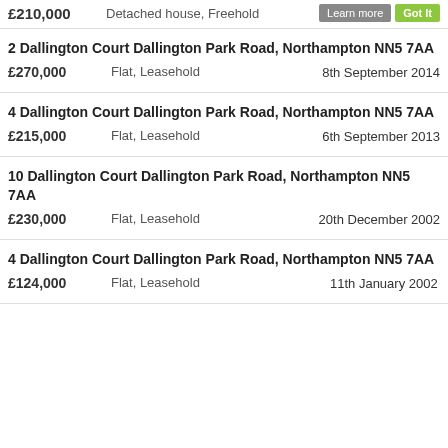£210,000  Detached house, Freehold
2 Dallington Court Dallington Park Road, Northampton NN5 7AA
£270,000  Flat, Leasehold  8th September 2014
4 Dallington Court Dallington Park Road, Northampton NN5 7AA
£215,000  Flat, Leasehold  6th September 2013
10 Dallington Court Dallington Park Road, Northampton NN5 7AA
£230,000  Flat, Leasehold  20th December 2002
4 Dallington Court Dallington Park Road, Northampton NN5 7AA
£124,000  Flat, Leasehold  11th January 2002